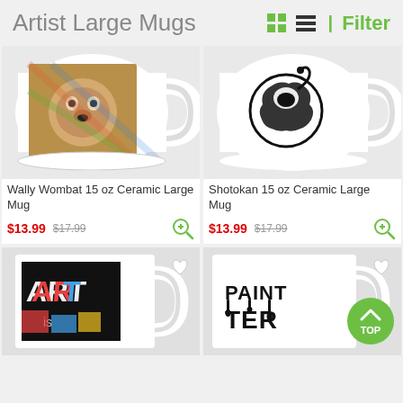Artist Large Mugs
[Figure (photo): White ceramic mug with wombat painting artwork]
Wally Wombat 15 oz Ceramic Large Mug
$13.99  $17.99
[Figure (photo): White ceramic mug with Shotokan tiger circular logo]
Shotokan 15 oz Ceramic Large Mug
$13.99  $17.99
[Figure (photo): White ceramic mug with colorful ART IS text design]
[Figure (photo): White ceramic mug with PAINT TER text dripping effect]